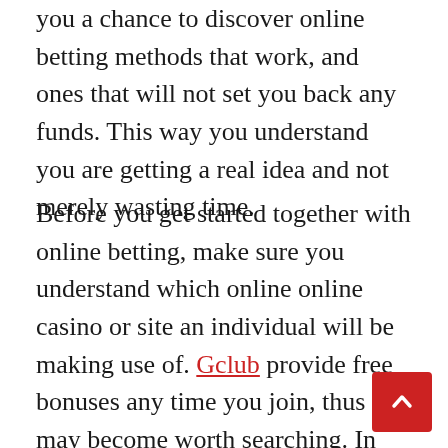you a chance to discover online betting methods that work, and ones that will not set you back any funds. This way you understand you are getting a real idea and not merely wasting time.
Before you get started together with online betting, make sure you understand which online online casino or site an individual will be making use of. Gclub provide free bonuses any time you join, thus it may become worth searching. In case you are fresh to online gambling, generally there are plenty involving free tutorials offered online. These can easily help you get an experience for online slots and winning techniques. However, before a person spend any money you should know already